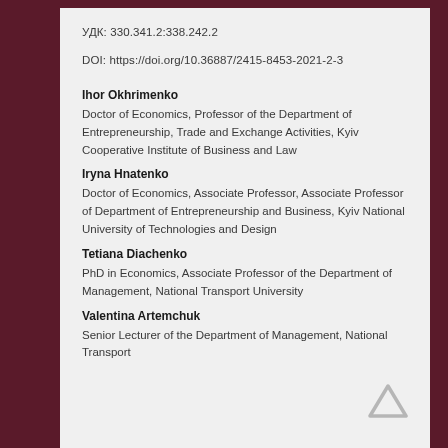УДК: 330.341.2:338.242.2
DOI: https://doi.org/10.36887/2415-8453-2021-2-3
Ihor Okhrimenko
Doctor of Economics, Professor of the Department of Entrepreneurship, Trade and Exchange Activities, Kyiv Cooperative Institute of Business and Law
Iryna Hnatenko
Doctor of Economics, Associate Professor, Associate Professor of Department of Entrepreneurship and Business, Kyiv National University of Technologies and Design
Tetiana Diachenko
PhD in Economics, Associate Professor of the Department of Management, National Transport University
Valentina Artemchuk
Senior Lecturer of the Department of Management, National Transport